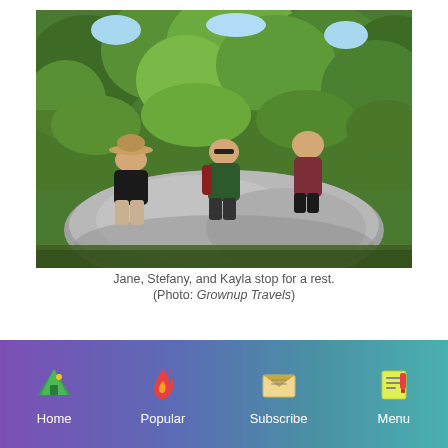[Figure (photo): Three women sitting on a large boulder in a forested area, surrounded by green trees. Left person wears a wide-brim hat and dark top; center person wears sunglasses and a green shirt with a backpack; right person wears a sleeveless maroon top.]
Jane, Stefany, and Kayla stop for a rest. (Photo: Grownup Travels)
Home | Popular | Subscribe | Menu